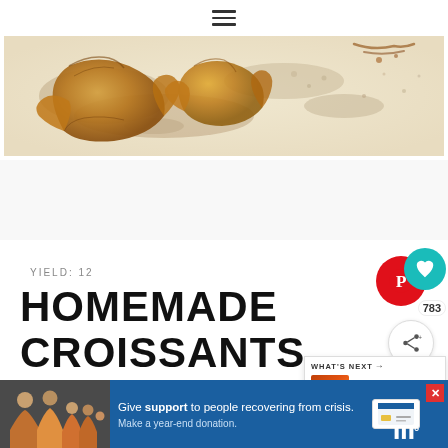[Figure (other): Hamburger/menu icon at top center of page]
[Figure (photo): Hero image of baked croissants on a light surface with flour dusting, warm golden-brown tones]
YIELD: 12
HOMEMADE CROISSANTS
[Figure (infographic): Pinterest save button with heart icon showing 783 saves, and a share button below]
[Figure (infographic): What's Next panel showing 'Homemade Enchilada...' with thumbnail image]
[Figure (infographic): Bottom advertisement bar with family photo, blue background, text 'Give support to people recovering from crisis. Make a year-end donation.' with close button and credit card icon]